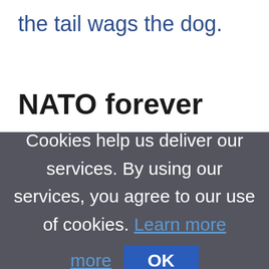the tail wags the dog.
NATO forever
Cookies help us deliver our services. By using our services, you agree to our use of cookies. Learn more
OK